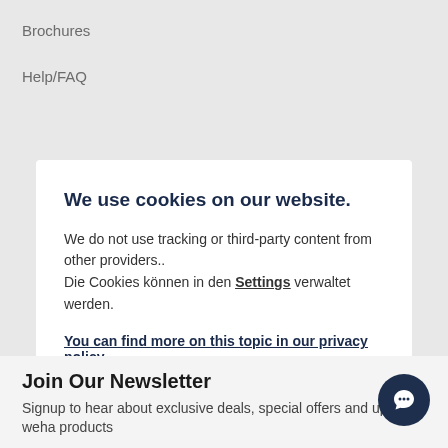Brochures
Help/FAQ
We use cookies on our website.
We do not use tracking or third-party content from other providers..
Die Cookies können in den Settings verwaltet werden.
You can find more on this topic in our privacy policy
Accept all cookies
Accept necessary cookies
Join Our Newsletter
Signup to hear about exclusive deals, special offers and up weha products